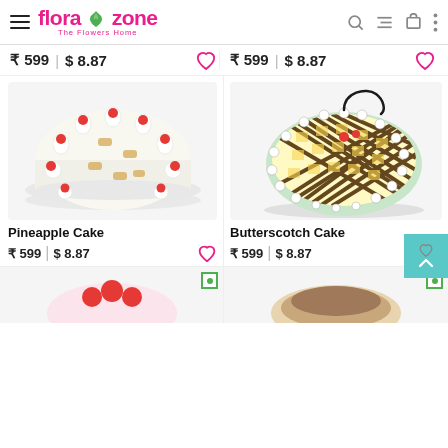flora zone - The Flowers Home
₹ 599 | $ 8.87
₹ 599 | $ 8.87
[Figure (photo): Pineapple Cake - white cream cake with red cherries and pineapple pieces around the border]
[Figure (photo): Butterscotch Cake - yellow and black checkered pattern cake with cream dollops]
Pineapple Cake
₹ 599 | $ 8.87
Butterscotch Cake
₹ 599 | $ 8.87
[Figure (photo): Partial view of bottom-left cake product]
[Figure (photo): Partial view of bottom-right cake product]